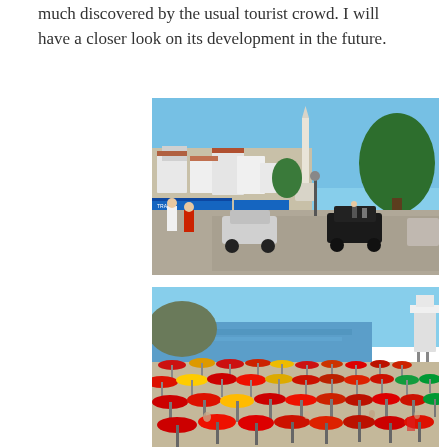much discovered by the usual tourist crowd. I will have a closer look on its development in the future.
[Figure (photo): Street scene of a coastal town with white buildings on a hillside, a mosque minaret in the center background, a large green tree on the right, parked cars, and pedestrians on the street. Clear blue sky.]
[Figure (photo): Crowded beach scene with many red, yellow, and green beach umbrellas, people sitting and lounging underneath. Blue sea and a rocky headland visible in the background. A lifeguard tower is visible on the right.]